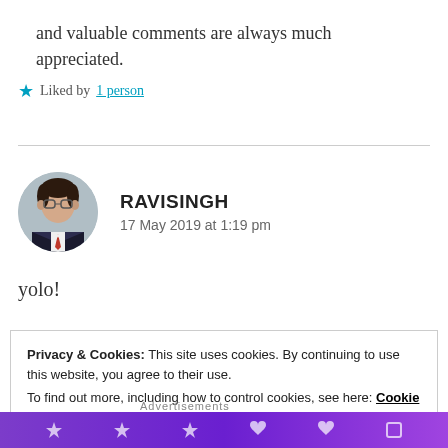and valuable comments are always much appreciated.
★ Liked by 1 person
RAVISINGH
17 May 2019 at 1:19 pm
yolo!
Privacy & Cookies: This site uses cookies. By continuing to use this website, you agree to their use.
To find out more, including how to control cookies, see here: Cookie Policy
Close and accept
Advertisements